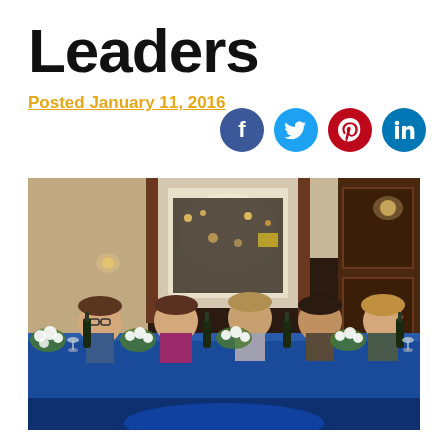Leaders
Posted January 11, 2016
[Figure (photo): Five women seated behind a long table covered with a blue tablecloth in a restaurant setting. Wine bottles and flower arrangements are on the table. The women are smiling at the camera.]